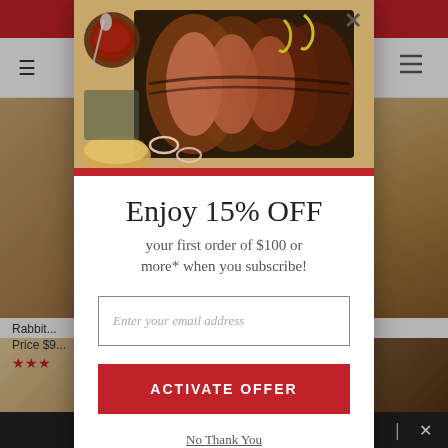[Figure (screenshot): Background of an e-commerce website showing a red header bar, navigation bar with hamburger menu and cart icon, product images of meat/BBQ products, product name starting with 'Rabbit', price starting with '$9', star ratings, and a dark footer bar.]
[Figure (photo): Photo of sliced BBQ brisket on a wooden cutting board with onion rings, banana peppers, and a bowl of BBQ sauce — used as the modal popup header image.]
Enjoy 15% OFF
your first order of $100 or more* when you subscribe!
Enter your email address
ACTIVATE OFFER
No Thank You